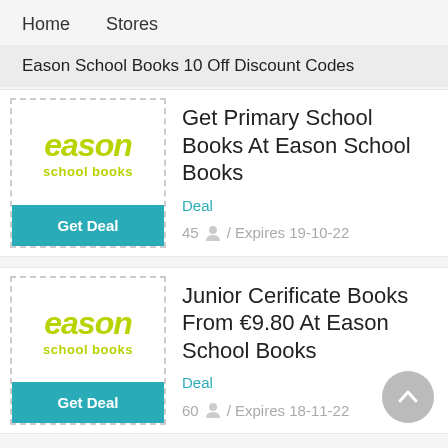Home   Stores
Eason School Books 10 Off Discount Codes
[Figure (logo): Eason school books logo with dashed border and Get Deal button]
Get Primary School Books At Eason School Books
Deal
45 / Expires 19-10-22
[Figure (logo): Eason school books logo with dashed border and Get Deal button]
Junior Cerificate Books From €9.80 At Eason School Books
Deal
60 / Expires 18-11-22